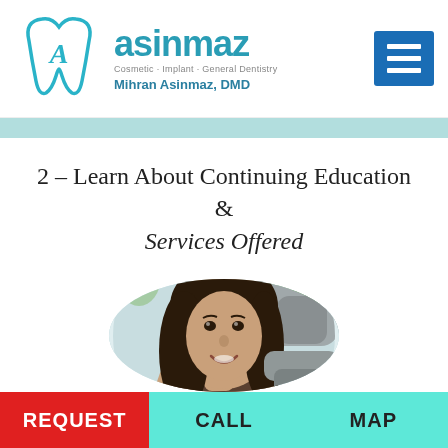asinmaz Cosmetic · Implant · General Dentistry Mihran Asinmaz, DMD
2 – Learn About Continuing Education & Services Offered
[Figure (photo): Young woman with long dark hair smiling while reclining in a dental chair, circular cropped photo]
REQUEST   CALL   MAP